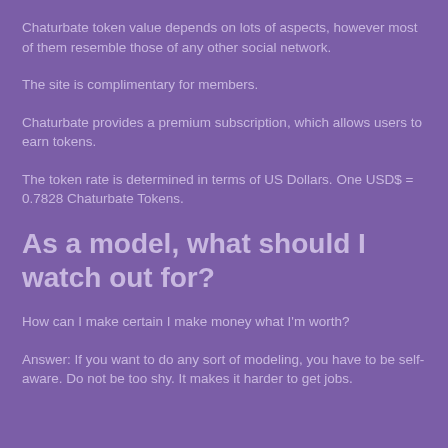Chaturbate token value depends on lots of aspects, however most of them resemble those of any other social network.
The site is complimentary for members.
Chaturbate provides a premium subscription, which allows users to earn tokens.
The token rate is determined in terms of US Dollars. One USD$ = 0.7828 Chaturbate Tokens.
As a model, what should I watch out for?
How can I make certain I make money what I'm worth?
Answer: If you want to do any sort of modeling, you have to be self-aware. Do not be too shy. It makes it harder to get jobs.